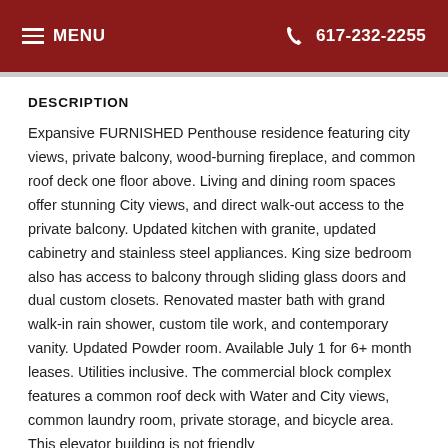MENU   617-232-2255
DESCRIPTION
Expansive FURNISHED Penthouse residence featuring city views, private balcony, wood-burning fireplace, and common roof deck one floor above. Living and dining room spaces offer stunning City views, and direct walk-out access to the private balcony. Updated kitchen with granite, updated cabinetry and stainless steel appliances. King size bedroom also has access to balcony through sliding glass doors and dual custom closets. Renovated master bath with grand walk-in rain shower, custom tile work, and contemporary vanity. Updated Powder room. Available July 1 for 6+ month leases. Utilities inclusive. The commercial block complex features a common roof deck with Water and City views, common laundry room, private storage, and bicycle area. This elevator building is not friendly